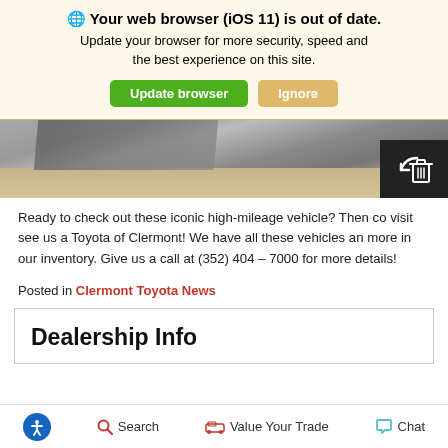🌐 Your web browser (iOS 11) is out of date. Update your browser for more security, speed and the best experience on this site.
Update browser | Ignore
[Figure (photo): Bottom portion of a car / vehicle photo showing pavement and curb]
Ready to check out these iconic high-mileage vehicle? Then co visit see us a Toyota of Clermont! We have all these vehicles an more in our inventory. Give us a call at (352) 404 – 7000 for more details!
Posted in Clermont Toyota News
Dealership Info
🔵 Search | Value Your Trade | Chat